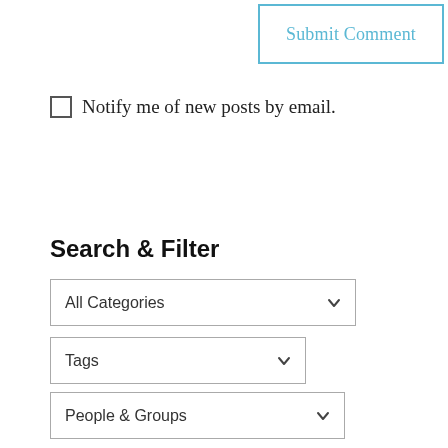[Figure (screenshot): Submit Comment button with light blue border and blue text]
Notify me of new posts by email.
Search & Filter
All Categories (dropdown)
Tags (dropdown)
People & Groups (dropdown)
Places (dropdown)
Endgame Premises (dropdown)